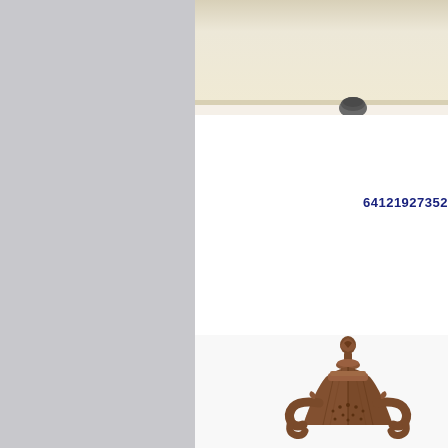[Figure (photo): Top portion of a ceiling light fixture with a cream/beige rectangular shade and a small dark mounting cap visible at the bottom center of the shade.]
64121927352
[Figure (photo): Top decorative portion of an ornate outdoor or pendant lamp fixture with dark rust/brown finish, featuring an acanthus leaf finial at the top, scrolled arms, and a ridged dome-shaped body with decorative circular cutouts.]